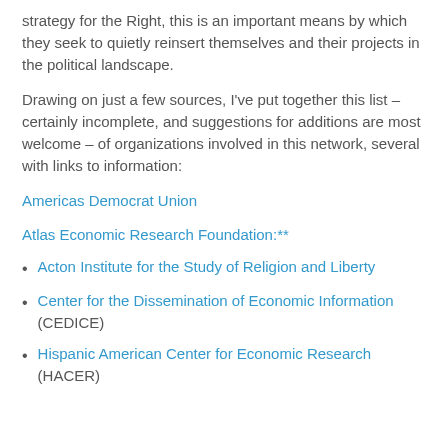strategy for the Right, this is an important means by which they seek to quietly reinsert themselves and their projects in the political landscape.
Drawing on just a few sources, I've put together this list – certainly incomplete, and suggestions for additions are most welcome – of organizations involved in this network, several with links to information:
Americas Democrat Union
Atlas Economic Research Foundation:**
Acton Institute for the Study of Religion and Liberty
Center for the Dissemination of Economic Information (CEDICE)
Hispanic American Center for Economic Research (HACER)